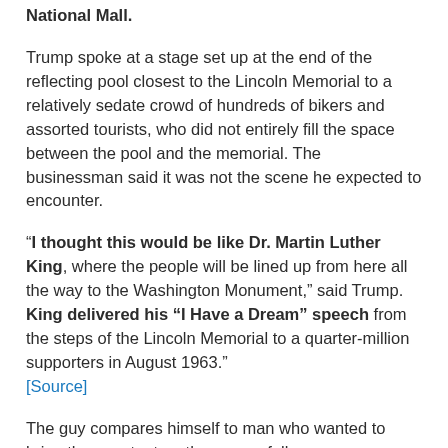National Mall.
Trump spoke at a stage set up at the end of the reflecting pool closest to the Lincoln Memorial to a relatively sedate crowd of hundreds of bikers and assorted tourists, who did not entirely fill the space between the pool and the memorial. The businessman said it was not the scene he expected to encounter.
“I thought this would be like Dr. Martin Luther King, where the people will be lined up from here all the way to the Washington Monument,” said Trump. King delivered his “I Have a Dream” speech from the steps of the Lincoln Memorial to a quarter-million supporters in August 1963.” [Source]
The guy compares himself to man who wanted to bring the country together, peacefully.
What  a delusional low-life.
Sadly for us all, Dr. King's dream is turning into one long American nightmare.